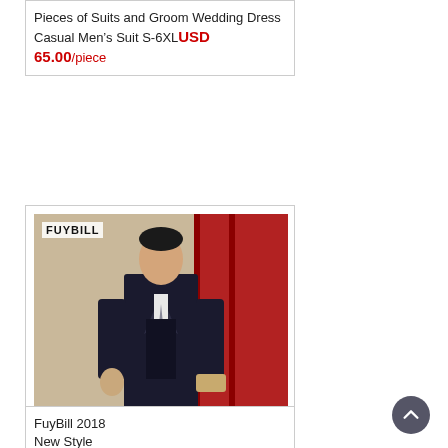Pieces of Suits and Groom Wedding Dress Casual Men's Suit S-6XL USD 65.00/piece
[Figure (photo): Man wearing a dark three-piece suit standing in front of a red door with flowers, FUYBILL brand logo in top left corner]
FuyBill 2018 New Style Fashion Suit Men's Three-piece Suits Slim Korean Casual Suit Business Groom Wedding Dress Best Men's Suit USD 65.00/piece
FuyBill 2018 New Style